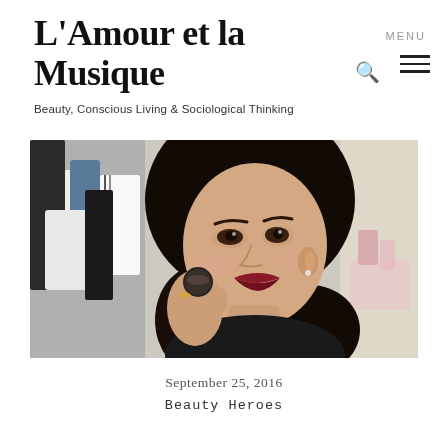L'Amour et la Musique
Beauty, Conscious Living & Sociological Thinking
[Figure (photo): A woman with dark hair and red lipstick holding a small round cosmetic product near her face, with clothes hanging in the background]
September 25, 2016
Beauty Heroes